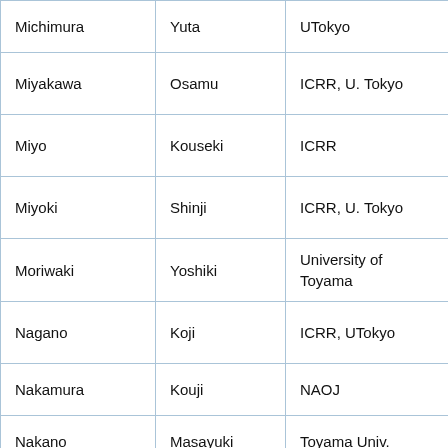| Michimura | Yuta | UTokyo |
| Miyakawa | Osamu | ICRR, U. Tokyo |
| Miyo | Kouseki | ICRR |
| Miyoki | Shinji | ICRR, U. Tokyo |
| Moriwaki | Yoshiki | University of Toyama |
| Nagano | Koji | ICRR, UTokyo |
| Nakamura | Kouji | NAOJ |
| Nakano | Masayuki | Toyama Univ. |
| Nakashima | Ryosuke | Department of Physics, Tokyo ... |